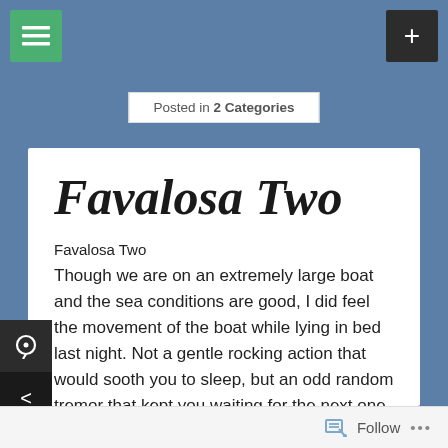Posted in 2 Categories
Favalosa Two
Favalosa Two
Though we are on an extremely large boat and the sea conditions are good, I did feel the movement of the boat while lying in bed last night. Not a gentle rocking action that would sooth you to sleep, but an odd random tremor that kept you waiting for the next one, until I eventually fell asleep out of anticipation
Follow ...